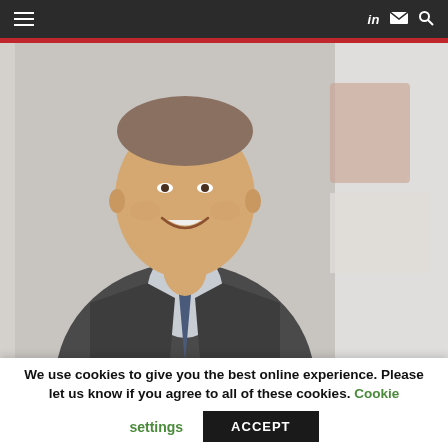≡  in ✉ 🔍
[Figure (photo): Professional headshot of a middle-aged man in a dark suit and blue tie, smiling, with a blurred office background]
When I started Financial Crime News, I wanted to offer a digestible collection of both interesting and relevant materials to arm financial crime fighter's with additional
We use cookies to give you the best online experience. Please let us know if you agree to all of these cookies. Cookie settings ACCEPT